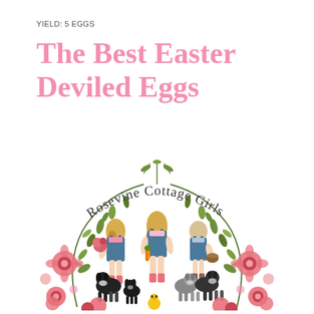YIELD: 5 EGGS
The Best Easter Deviled Eggs
[Figure (illustration): Rosevine Cottage Girls logo: a circular wreath of green leaves and pink flowers with three illustrated girls in blue overalls holding produce, surrounded by dogs, with cursive text 'Rosevine Cottage Girls' arching over the top.]